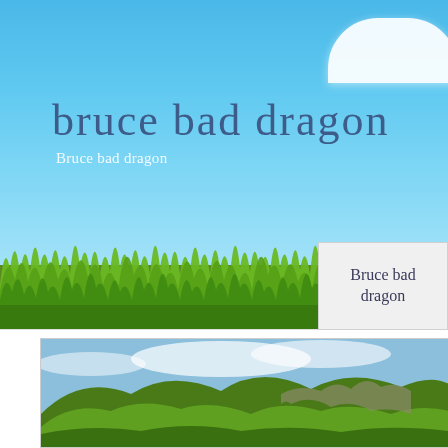[Figure (illustration): Blue sky with white cloud in top right, lush green grass strip in lower portion, landscape banner image]
bruce bad dragon
Bruce bad dragon
Bruce bad dragon
[Figure (photo): Green rolling hills landscape with cloudy sky, framed in a bordered panel]